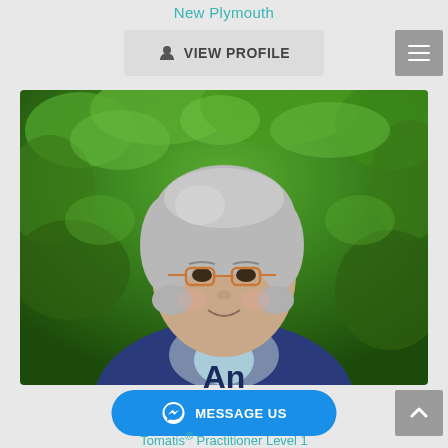New Plymouth
VIEW PROFILE
[Figure (photo): Portrait photo of an elderly woman with short gray hair and glasses, smiling, wearing a dark blue top and scarf, with green leafy shrubs in the background]
An
MESSAGE US
Tomatis® Practitioner Level 1